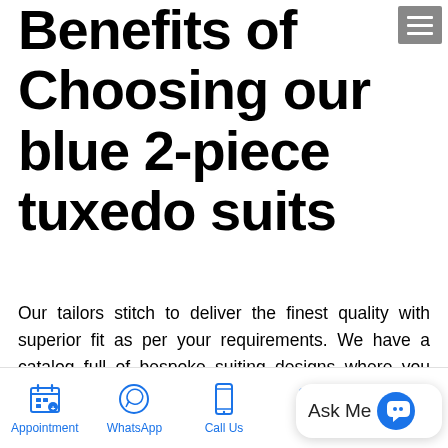Benefits of Choosing our blue 2-piece tuxedo suits
Our tailors stitch to deliver the finest quality with superior fit as per your requirements. We have a catalog full of bespoke suiting designs where you can choose the suit design. If you don't find what you are looking for. You can go with your own choice of suiting elements. Where you can choose suit lapels, buttons, jacket style and number of buttons on cuffs with your r
Appointment  WhatsApp  Call Us  SMS  Location